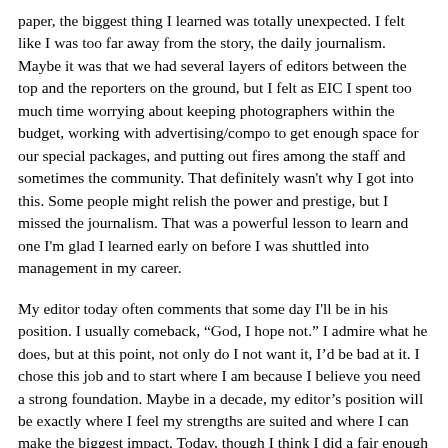paper, the biggest thing I learned was totally unexpected. I felt like I was too far away from the story, the daily journalism. Maybe it was that we had several layers of editors between the top and the reporters on the ground, but I felt as EIC I spent too much time worrying about keeping photographers within the budget, working with advertising/compo to get enough space for our special packages, and putting out fires among the staff and sometimes the community. That definitely wasn't why I got into this. Some people might relish the power and prestige, but I missed the journalism. That was a powerful lesson to learn and one I'm glad I learned early on before I was shuttled into management in my career.
My editor today often comments that some day I'll be in his position. I usually comeback, "God, I hope not." I admire what he does, but at this point, not only do I not want it, I'd be bad at it. I chose this job and to start where I am because I believe you need a strong foundation. Maybe in a decade, my editor's position will be exactly where I feel my strengths are suited and where I can make the biggest impact. Today, though I think I did a fair enough job when I was a student editor, I am enjoying my time as a reporter. Yes, I have less power to change the institution, my opinion on what to cover or not cover carries less weight and sometimes I have to accept doing something I'd rather not on the terms of "because I said so" from above. But with my undergrad crash